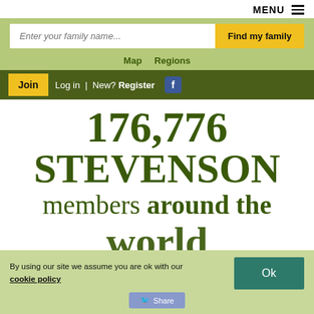MENU
Enter your family name... | Find my family
Map   Regions
Join  Log in  | New? Register  [Facebook]
176,776 STEVENSON members around the world
By using our site we assume you are ok with our cookie policy
Ok
Share